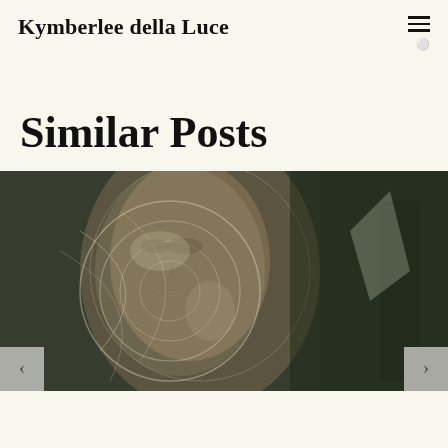Kymberlee della Luce
Similar Posts
[Figure (photo): Artistic double-exposure photograph of a woman's face with swirling light patterns overlaid on a dark forest background, with navigation arrows on either side]